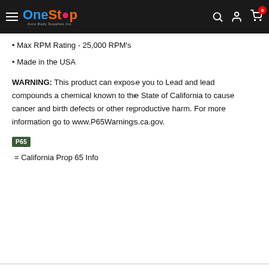OneStop Auto Body Supplies Inc.
Max RPM Rating - 25,000 RPM's
Made in the USA
WARNING: This product can expose you to Lead and lead compounds a chemical known to the State of California to cause cancer and birth defects or other reproductive harm. For more information go to www.P65Warnings.ca.gov.
[Figure (logo): P65 badge - green rectangle with white text 'P65']
= California Prop 65 Info